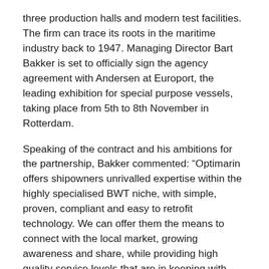three production halls and modern test facilities. The firm can trace its roots in the maritime industry back to 1947. Managing Director Bart Bakker is set to officially sign the agency agreement with Andersen at Europort, the leading exhibition for special purpose vessels, taking place from 5th to 8th November in Rotterdam.
Speaking of the contract and his ambitions for the partnership, Bakker commented: “Optimarin offers shipowners unrivalled expertise within the highly specialised BWT niche, with simple, proven, compliant and easy to retrofit technology. We can offer them the means to connect with the local market, growing awareness and share, while providing high quality service levels that are in keeping with such a respected brand. It’s a win-win for everyone.
“I strongly believe our companies are a good fit – in terms of our values, cultures and dedication to our customers – and together we can make the most of the huge opportunity within the regional industry. Shipowners need to turn to trusted